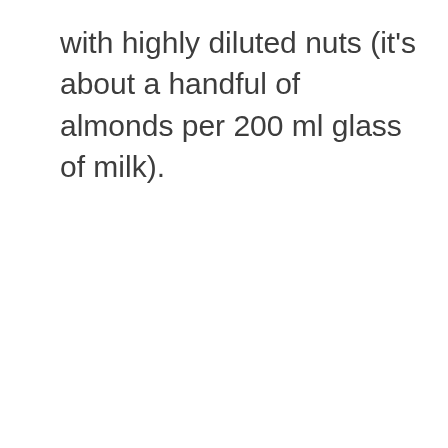with highly diluted nuts (it’s about a handful of almonds per 200 ml glass of milk).